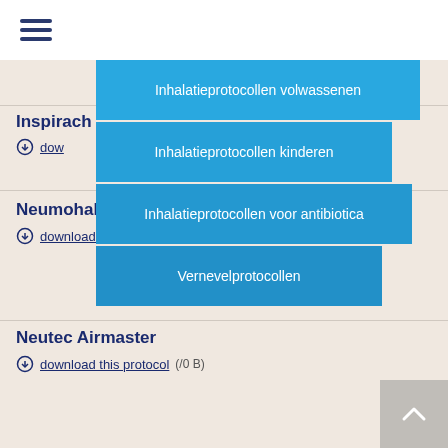☰ (hamburger menu)
[Figure (screenshot): Dropdown navigation menu with four blue panels: 'Inhalatieprotocollen volwassenen', 'Inhalatieprotocollen kinderen', 'Inhalatieprotocollen voor antibiotica', 'Vernevelprotocollen']
Inspirach
download this protocol (/ 0 B)
Neumohaler
download this protocol (/ 0 B)
Neutec Airmaster
download this protocol (/ 0 B)